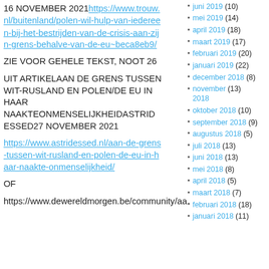16 NOVEMBER 2021 https://www.trouw.nl/buitenland/polen-wil-hulp-van-iedereen-bij-het-bestrijden-van-de-crisis-aan-zijn-grens-behalve-van-de-eu~beca8eb9/
ZIE VOOR GEHELE TEKST, NOOT 26
UIT ARTIKELAAN DE GRENS TUSSEN WIT-RUSLAND EN POLEN/DE EU IN HAAR NAAKTEONMENSELIJKHEIDASTRID ESSED27 NOVEMBER 2021
https://www.astridessed.nl/aan-de-grens-tussen-wit-rusland-en-polen-de-eu-in-haar-naakte-onmenselijkheid/
OF
https://www.dewereldmorgen.be/community/aa
juni 2019 (10)
mei 2019 (14)
april 2019 (18)
maart 2019 (17)
februari 2019 (20)
januari 2019 (22)
december 2018 (8)
november 2018 (13)
oktober 2018 (10)
september 2018 (9)
augustus 2018 (5)
juli 2018 (13)
juni 2018 (13)
mei 2018 (8)
april 2018 (5)
maart 2018 (7)
februari 2018 (18)
januari 2018 (11)